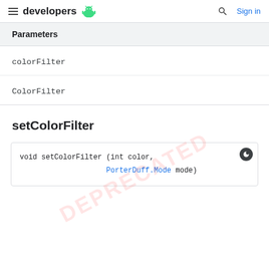developers (Android logo) | Search | Sign in
Parameters
colorFilter
ColorFilter
setColorFilter
void setColorFilter (int color,
                    PorterDuff.Mode mode)